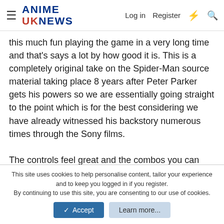ANIME UKNEWS | Log in | Register
this much fun playing the game in a very long time and that's says a lot by how good it is. This is a completely original take on the Spider-Man source material taking place 8 years after Peter Parker gets his powers so we are essentially going straight to the point which is for the best considering we have already witnessed his backstory numerous times through the Sony films.
The controls feel great and the combos you can make work really well, especially the dodging mechanics and how brutal it can be if you mess up and get hit. The best part is actually swinging around because it does make you feel like you're Spider-Man in a sense, though the wall climbing is a bit broken (wall running works great which is a plus). The game is an open world sandbox of sorts so you have the choice of going
This site uses cookies to help personalise content, tailor your experience and to keep you logged in if you register.
By continuing to use this site, you are consenting to our use of cookies.